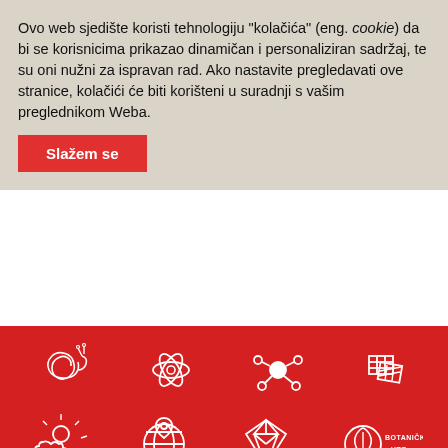Ovo web sjedište koristi tehnologiju "kolačića" (eng. cookie) da bi se korisnicima prikazao dinamičan i personaliziran sadržaj, te su oni nužni za ispravan rad. Ako nastavite pregledavati ove stranice, kolačići će biti korišteni u suradnji s vašim preglednikom Weba.
Slažem se
[Figure (illustration): Red background section with white outline icons: snail/shell, atom, molecule/network, solar panel grid (top row); sun with clouds, owl/bird, diamond gem, botanical garden logo with circle and leaf icon and text BOTANIČKI VRT (bottom row)]